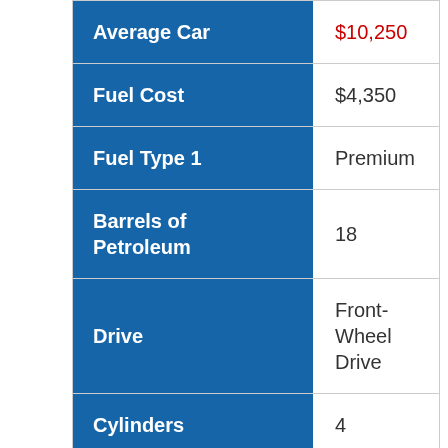| Category | Value |
| --- | --- |
| Average Car | $10,250 |
| Fuel Cost | $4,350 |
| Fuel Type 1 | Premium |
| Barrels of Petroleum | 18 |
| Drive | Front-Wheel Drive |
| Cylinders | 4 |